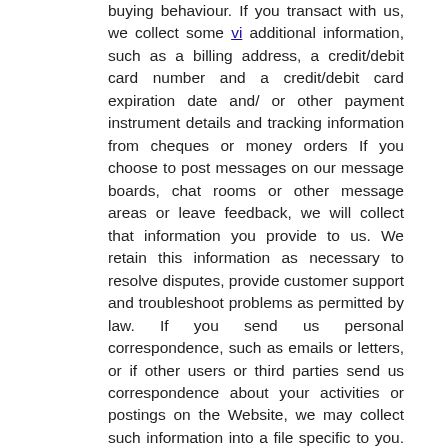buying behaviour. If you transact with us, we collect some additional information, such as a billing address, a credit/debit card number and a credit/debit card expiration date and/ or other payment instrument details and tracking information from cheques or money orders If you choose to post messages on our message boards, chat rooms or other message areas or leave feedback, we will collect that information you provide to us. We retain this information as necessary to resolve disputes, provide customer support and troubleshoot problems as permitted by law. If you send us personal correspondence, such as emails or letters, or if other users or third parties send us correspondence about your activities or postings on the Website, we may collect such information into a file specific to you. We collect personally identifiable information (email address, name, phone number, credit card/debit card / other payment instrument details, etc.) from you when you set up a free account with us. While you can browse some sections of our Website without being a registered member, certain activities (such as placing an order) do require registration. We do use your contact information to send you offers based on your previous orders and your